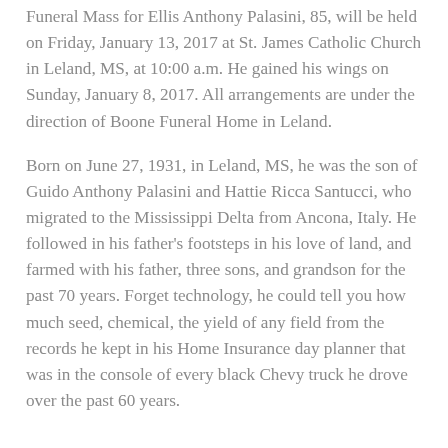Funeral Mass for Ellis Anthony Palasini, 85, will be held on Friday, January 13, 2017 at St. James Catholic Church in Leland, MS, at 10:00 a.m. He gained his wings on Sunday, January 8, 2017. All arrangements are under the direction of Boone Funeral Home in Leland.
Born on June 27, 1931, in Leland, MS, he was the son of Guido Anthony Palasini and Hattie Ricca Santucci, who migrated to the Mississippi Delta from Ancona, Italy. He followed in his father's footsteps in his love of land, and farmed with his father, three sons, and grandson for the past 70 years. Forget technology, he could tell you how much seed, chemical, the yield of any field from the records he kept in his Home Insurance day planner that was in the console of every black Chevy truck he drove over the past 60 years.